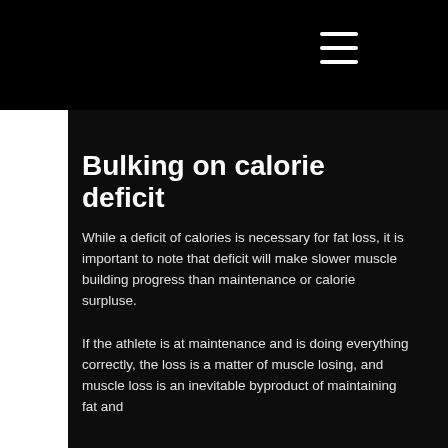[Figure (other): Hamburger/menu icon with three white horizontal lines on black background, top right area]
Bulking on calorie deficit
While a deficit of calories is necessary for fat loss, it is important to note that deficit will make slower muscle building progress than maintenance or calorie surpluse.
If the athlete is at maintenance and is doing everything correctly, the loss is a matter of muscle losing, and muscle loss is an inevitable byproduct of maintaining fat and